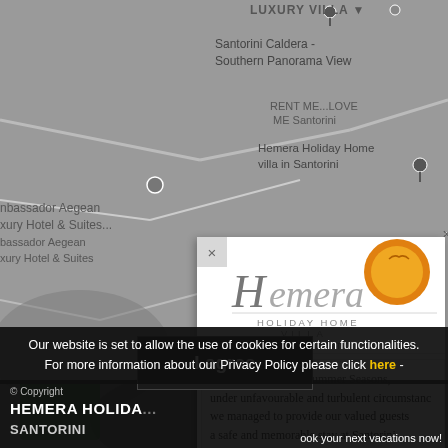[Figure (screenshot): Google Maps screenshot showing Santorini area with location pins and labels including 'LUXURY VILLA', 'Santorini Caldera - Southern Panorama View', 'RENT ME...LOVE ME Santorini', 'Hemera Holiday Home villa in Santorini', 'Ambassador Aegean Luxury Hotel & Suites']
[Figure (screenshot): Popup overlay showing Hemera Holiday Home Villa in Santorini logo with orange sun graphic, script H letter, and text 'HOLIDAY HOME VILLA IN SANTORINI', followed by descriptive text about Summer Seasons and upcoming season]
During the two last Summer Seasons, under unfavourable and turbulent circumstances, we managed to provide our valued guests a safe and memorable stay at Santorini. For the upcoming season, with the experience after this demanding past season, we are all set and we look forward to welcoming you at Hemera Holiday Home villa in Santorini...
Our website is set to allow the use of cookies for certain functionalities. For more information about our Privacy Policy please click here -
I agree
© Copyright HEMERA HOLIDAY HOME SANTORINI
book your next vacations now!